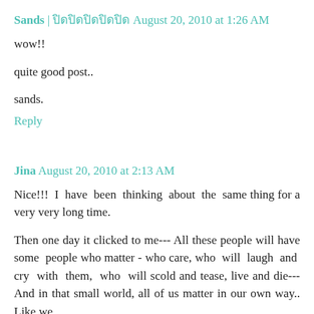Sands | ปิดปิดปิดปิดปิด August 20, 2010 at 1:26 AM
wow!!

quite good post..

sands.
Reply
Jina August 20, 2010 at 2:13 AM
Nice!!!  I  have  been  thinking  about  the  same thing for a very very long time.
Then one day it clicked to me--- All these people will have some people who matter - who care, who  will  laugh  and  cry  with  them,  who  will scold and tease, live and die--- And in that small world, all of us matter in our own way.. Like we